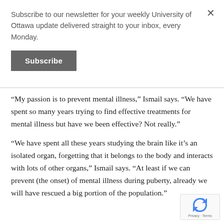Subscribe to our newsletter for your weekly University of Ottawa update delivered straight to your inbox, every Monday.
Subscribe
“My passion is to prevent mental illness,” Ismail says. “We have spent so many years trying to find effective treatments for mental illness but have we been effective? Not really.”
“We have spent all these years studying the brain like it’s an isolated organ, forgetting that it belongs to the body and interacts with lots of other organs,” Ismail says. “At least if we can prevent (the onset) of mental illness during puberty, already we will have rescued a big portion of the population.”